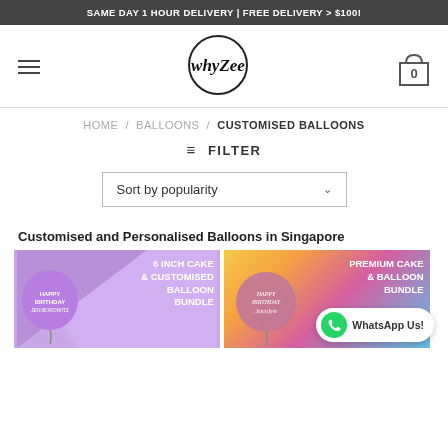SAME DAY 1 HOUR DELIVERY | FREE DELIVERY > $100!
[Figure (logo): WhyZee logo — cursive text inside a hand-drawn circle]
HOME / BALLOONS / CUSTOMISED BALLOONS
≡ FILTER
Sort by popularity
Customised and Personalised Balloons in Singapore
[Figure (photo): Purple background product image showing a heart-shaped purple balloon with text, labelled '6 INCH CAKE & CUSTOMISED BALLOON BUNDLE']
[Figure (photo): Colourful gradient background product image showing a round rose-gold balloon with 'Happy Birthday' text, labelled 'PREMIUM CAKE & BALLOON BUNDLE']